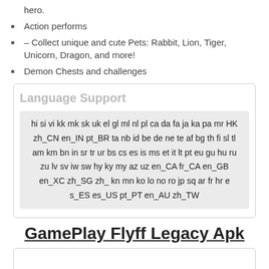hero.
Action performs
– Collect unique and cute Pets: Rabbit, Lion, Tiger, Unicorn, Dragon, and more!
Demon Chests and challenges
Language Support
hi si vi kk mk sk uk el gl ml nl pl ca da fa ja ka pa mr HK zh_CN en_IN pt_BR ta nb id be de ne te af bg th fi sl tl am km bn in sr tr ur bs cs es is ms et it lt pt eu gu hu ru zu lv sv iw sw hy ky my az uz en_CA fr_CA en_GB en_XC zh_SG zh_ kn mn ko lo no ro jp sq ar fr hr e s_ES es_US pt_PT en_AU zh_TW
GamePlay Flyff Legacy Apk